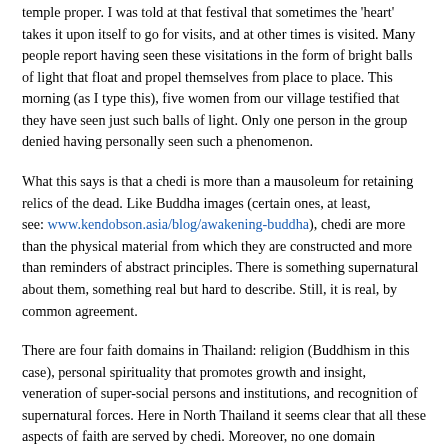temple proper. I was told at that festival that sometimes the 'heart' takes it upon itself to go for visits, and at other times is visited. Many people report having seen these visitations in the form of bright balls of light that float and propel themselves from place to place. This morning (as I type this), five women from our village testified that they have seen just such balls of light. Only one person in the group denied having personally seen such a phenomenon.
What this says is that a chedi is more than a mausoleum for retaining relics of the dead. Like Buddha images (certain ones, at least, see: www.kendobson.asia/blog/awakening-buddha), chedi are more than the physical material from which they are constructed and more than reminders of abstract principles. There is something supernatural about them, something real but hard to describe. Still, it is real, by common agreement.
There are four faith domains in Thailand: religion (Buddhism in this case), personal spirituality that promotes growth and insight, veneration of super-social persons and institutions, and recognition of supernatural forces. Here in North Thailand it seems clear that all these aspects of faith are served by chedi. Moreover, no one domain